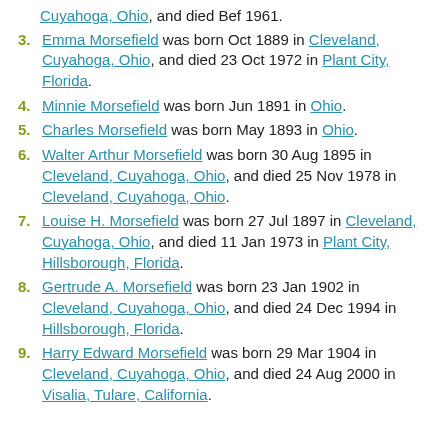(continued) Cuyahoga, Ohio, and died Bef 1961.
3. Emma Morsefield was born Oct 1889 in Cleveland, Cuyahoga, Ohio, and died 23 Oct 1972 in Plant City, Florida.
4. Minnie Morsefield was born Jun 1891 in Ohio.
5. Charles Morsefield was born May 1893 in Ohio.
6. Walter Arthur Morsefield was born 30 Aug 1895 in Cleveland, Cuyahoga, Ohio, and died 25 Nov 1978 in Cleveland, Cuyahoga, Ohio.
7. Louise H. Morsefield was born 27 Jul 1897 in Cleveland, Cuyahoga, Ohio, and died 11 Jan 1973 in Plant City, Hillsborough, Florida.
8. Gertrude A. Morsefield was born 23 Jan 1902 in Cleveland, Cuyahoga, Ohio, and died 24 Dec 1994 in Hillsborough, Florida.
9. Harry Edward Morsefield was born 29 Mar 1904 in Cleveland, Cuyahoga, Ohio, and died 24 Aug 2000 in Visalia, Tulare, California.